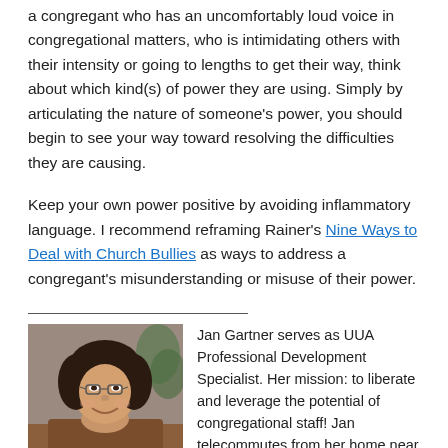a congregant who has an uncomfortably loud voice in congregational matters, who is intimidating others with their intensity or going to lengths to get their way, think about which kind(s) of power they are using. Simply by articulating the nature of someone's power, you should begin to see your way toward resolving the difficulties they are causing.
Keep your own power positive by avoiding inflammatory language. I recommend reframing Rainer's Nine Ways to Deal with Church Bullies as ways to address a congregant's misunderstanding or misuse of their power.
[Figure (photo): Portrait photo of Jan Gartner, a woman with dark hair and glasses, smiling]
Jan Gartner serves as UUA Professional Development Specialist. Her mission: to liberate and leverage the potential of congregational staff! Jan telecommutes from her home near Rochester, NY. She is a joyful